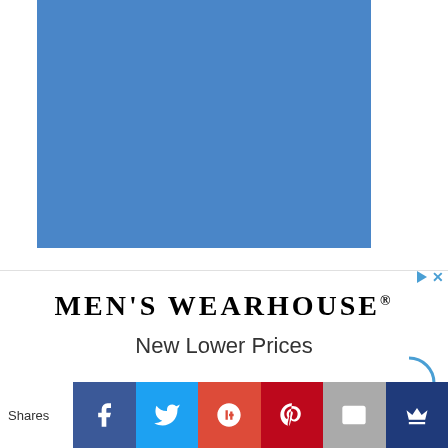[Figure (photo): Solid blue rectangle placeholder image]
[Figure (illustration): Men's Wearhouse advertisement banner with text 'MEN'S WEARHOUSE® New Lower Prices' and social sharing buttons below]
Shares
MEN'S WEARHOUSE®
New Lower Prices